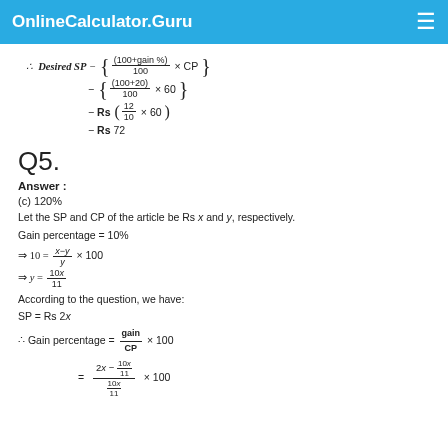OnlineCalculator.Guru
Q5.
Answer :
(c) 120%
Let the SP and CP of the article be Rs x and y, respectively.
Gain percentage = 10%
According to the question, we have:
SP = Rs 2x
∴ Gain percentage = gain/CP × 100